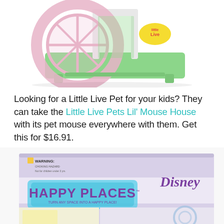[Figure (photo): Little Live Pets Lil' Mouse House toy product photo - a green cage with a pink transparent wheel, white frame, with Little Live Pets logo sticker]
Looking for a Little Live Pet for your kids? They can take the Little Live Pets Lil' Mouse House with its pet mouse everywhere with them. Get this for $16.91.
[Figure (photo): Disney Happy Places product box - lavender/purple packaging with Happy Places logo and Disney branding, showing small toy accessories]